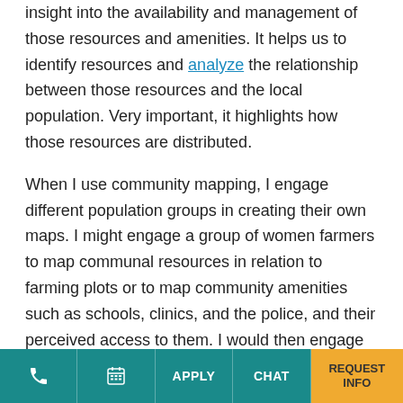insight into the availability and management of those resources and amenities. It helps us to identify resources and analyze the relationship between those resources and the local population. Very important, it highlights how those resources are distributed.
When I use community mapping, I engage different population groups in creating their own maps. I might engage a group of women farmers to map communal resources in relation to farming plots or to map community amenities such as schools, clinics, and the police, and their perceived access to them. I would then engage male farmers to create the same maps—and
APPLY  CHAT  REQUEST INFO